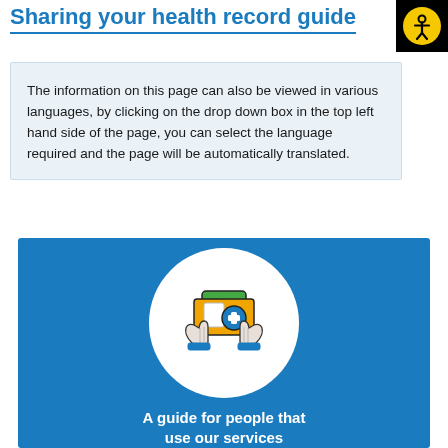Sharing your health record guide
The information on this page can also be viewed in various languages, by clicking on the drop down box in the top left hand side of the page, you can select the language required and the page will be automatically translated.
[Figure (illustration): Blue background panel with a white circle containing an icon of two hands holding up a medical folder with a green top and an orange/yellow body with a blue medical cross symbol. Below the circle, bold white text reads 'A guide for people that use our services'.]